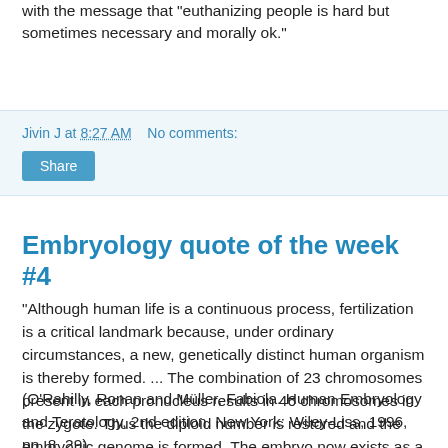with the message that "euthanizing people is hard but sometimes necessary and morally ok."
Jivin J at 8:27 AM    No comments:
Share
Embryology quote of the week #4
"Although human life is a continuous process, fertilization is a critical landmark because, under ordinary circumstances, a new, genetically distinct human organism is thereby formed. ... The combination of 23 chromosomes present in each pronucleus results in 46 chromosomes in the zygote. Thus the diploid number is restored and the embryonic genome is formed. The embryo now exists as a genetic unity."
(O'Rahilly, Ronan and Müller, Fabiola. Human Embryology and Teratology, 2nd edition. New York: Wiley-Liss, 1996, pp. 8, 29).